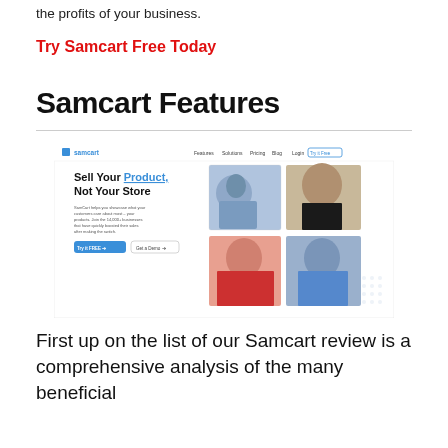the profits of your business.
Try Samcart Free Today
Samcart Features
[Figure (screenshot): Screenshot of Samcart website homepage showing navigation bar with Features, Solutions, Pricing, Blog, Login, Try it Free links, headline 'Sell Your Product, Not Your Store', body text about SamCart helping showcase products, two CTA buttons 'Try it FREE' and 'Get a Demo', and a collage of three photos of people.]
First up on the list of our Samcart review is a comprehensive analysis of the many beneficial